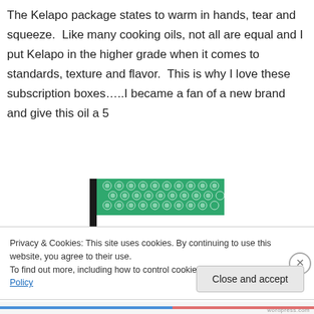The Kelapo package states to warm in hands, tear and squeeze.  Like many cooking oils, not all are equal and I put Kelapo in the higher grade when it comes to standards, texture and flavor.  This is why I love these subscription boxes…..I became a fan of a new brand and give this oil a 5
[Figure (photo): A green subscription box with circular logo pattern and the word MARCH printed in white on it, photographed from an angle on a wooden surface]
Privacy & Cookies: This site uses cookies. By continuing to use this website, you agree to their use.
To find out more, including how to control cookies, see here: Cookie Policy